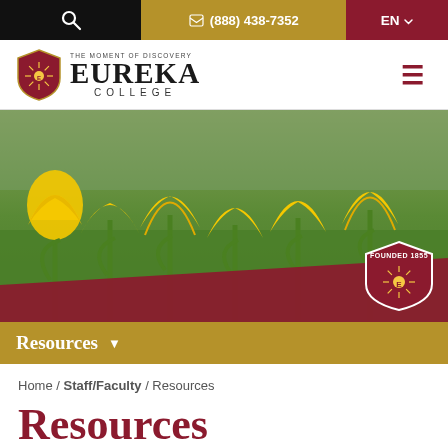🔍  📞 (888) 438-7352  EN
[Figure (logo): Eureka College logo with shield and text 'THE MOMENT OF DISCOVERY EUREKA COLLEGE']
[Figure (photo): Photo of yellow tulips in bloom on a green lawn with blurred background, Eureka College campus]
Resources
Home / Staff/Faculty / Resources
Resources